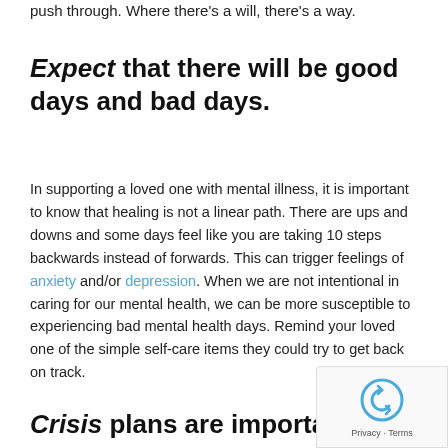push through. Where there's a will, there's a way.
Expect that there will be good days and bad days.
In supporting a loved one with mental illness, it is important to know that healing is not a linear path. There are ups and downs and some days feel like you are taking 10 steps backwards instead of forwards. This can trigger feelings of anxiety and/or depression. When we are not intentional in caring for our mental health, we can be more susceptible to experiencing bad mental health days. Remind your loved one of the simple self-care items they could try to get back on track.
Crisis plans are important